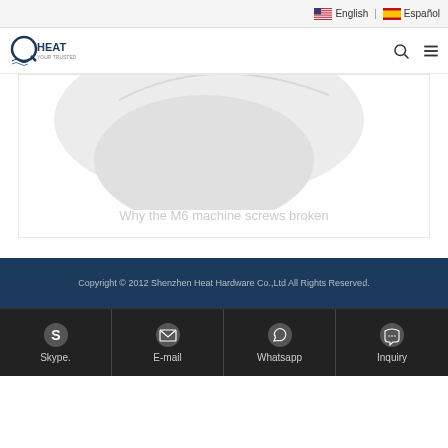English | Español
[Figure (logo): Qheat logo - company logo with stylized text and waves]
[Figure (illustration): Decorative card shape - light gray rounded shape suggesting a card or placeholder image]
Why the M6 machine screws broken
Copyright © 2012 Shenzhen Heat Hardware Co.,Ltd All Rights Reserved.
Skype. | E-mail | Whatsapp | Inquiry